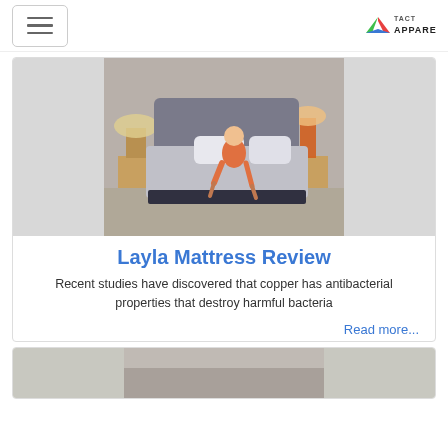Navigation bar with hamburger menu and TACT APPAREL logo
[Figure (photo): Woman in orange dress sitting on a Layla mattress in a bedroom setting with lamps and nightstands]
Layla Mattress Review
Recent studies have discovered that copper has antibacterial properties that destroy harmful bacteria
Read more...
[Figure (photo): Partial view of a second article card with a bedroom image at the bottom of the page]